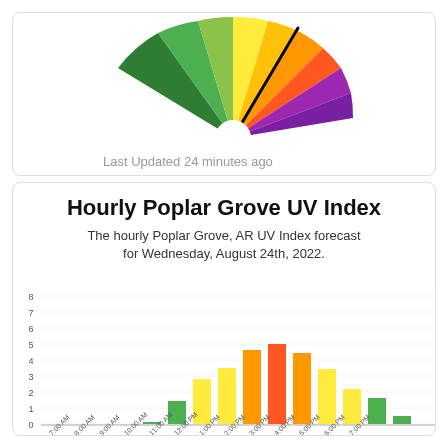[Figure (other): UV index gauge/speedometer with colored segments (green, yellow, orange, red, purple) and a needle pointing toward the yellow-orange boundary. Last Updated 24 minutes ago.]
Last Updated 24 minutes ago
Hourly Poplar Grove UV Index
The hourly Poplar Grove, AR UV Index forecast for Wednesday, August 24th, 2022.
[Figure (bar-chart): Hourly UV Index]